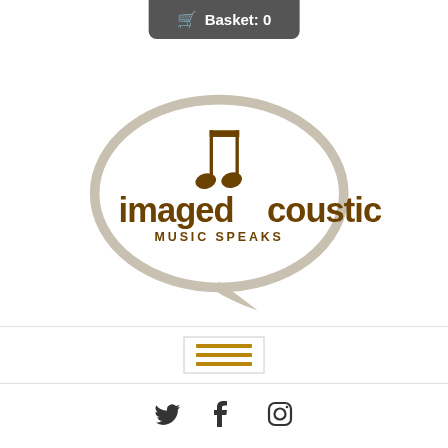Basket: 0
[Figure (logo): Imageacoustic logo: a speech bubble outline containing a music note and the text 'imageacoustic MUSIC SPEAKS' in brown/olive color]
[Figure (infographic): Hamburger menu button with three brown horizontal lines]
[Figure (infographic): Social media icons: Twitter, Facebook, Instagram]